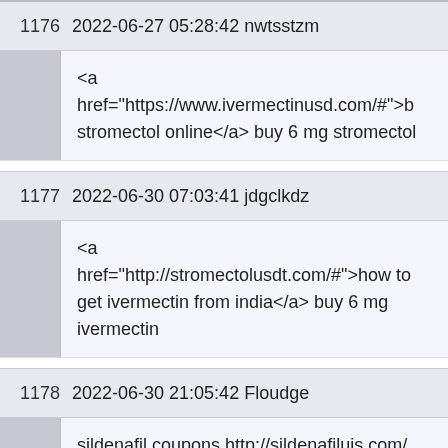| # | Date/Time/User | Content |
| --- | --- | --- |
| 1176 | 2022-06-27 05:28:42 nwtsstzm | <a href="https://www.ivermectinusd.com/#">b stromectol online</a> buy 6 mg stromectol |
| 1177 | 2022-06-30 07:03:41 jdgclkdz | <a href="http://stromectolusdt.com/#">how to get ivermectin from india</a> buy 6 mg ivermectin |
| 1178 | 2022-06-30 21:05:42 Floudge | sildenafil coupons http://sildenafiluis.com/ sildenafil mechanism of action |